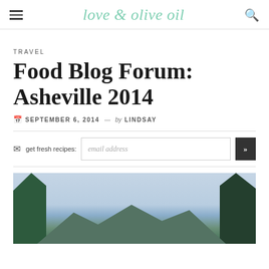love & olive oil
TRAVEL
Food Blog Forum: Asheville 2014
SEPTEMBER 6, 2014 — by LINDSAY
get fresh recipes: email address
[Figure (photo): Outdoor landscape photo showing a view of mountains with trees framing both sides and a blue-grey cloudy sky, likely from Asheville, NC area.]